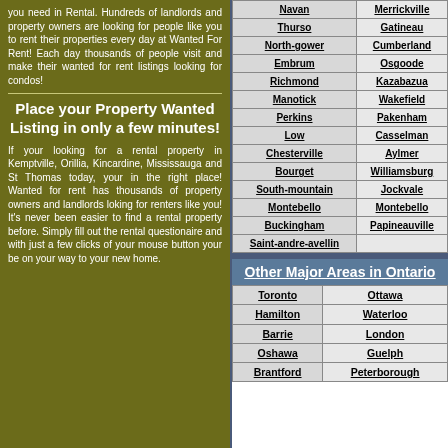you need in Rental. Hundreds of landlords and property owners are looking for people like you to rent their properties every day at Wanted For Rent! Each day thousands of people visit and make their wanted for rent listings looking for condos!
Place your Property Wanted Listing in only a few minutes!
If your looking for a rental property in Kemptville, Orillia, Kincardine, Mississauga and St Thomas today, your in the right place! Wanted for rent has thousands of property owners and landlords loking for renters like you! It's never been easier to find a rental property before. Simply fill out the rental questionaire and with just a few clicks of your mouse button your be on your way to your new home.
| Navan | Merrickville |
| Thurso | Gatineau |
| North-gower | Cumberland |
| Embrum | Osgoode |
| Richmond | Kazabazua |
| Manotick | Wakefield |
| Perkins | Pakenham |
| Low | Casselman |
| Chesterville | Aylmer |
| Bourget | Williamsburg |
| South-mountain | Jockvale |
| Montebello | Montebello |
| Buckingham | Papineauville |
| Saint-andre-avellin |  |
Other Major Areas in Ontario
| Toronto | Ottawa |
| Hamilton | Waterloo |
| Barrie | London |
| Oshawa | Guelph |
| Brantford | Peterborough |